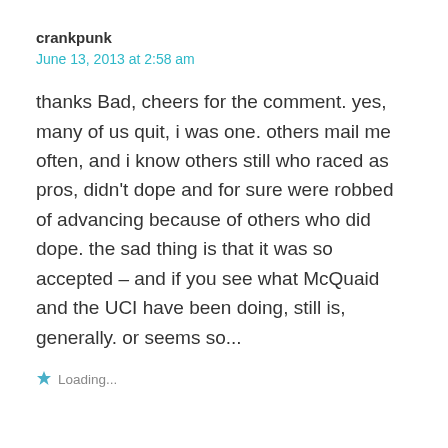crankpunk
June 13, 2013 at 2:58 am
thanks Bad, cheers for the comment. yes, many of us quit, i was one. others mail me often, and i know others still who raced as pros, didn't dope and for sure were robbed of advancing because of others who did dope. the sad thing is that it was so accepted – and if you see what McQuaid and the UCI have been doing, still is, generally. or seems so...
Loading...